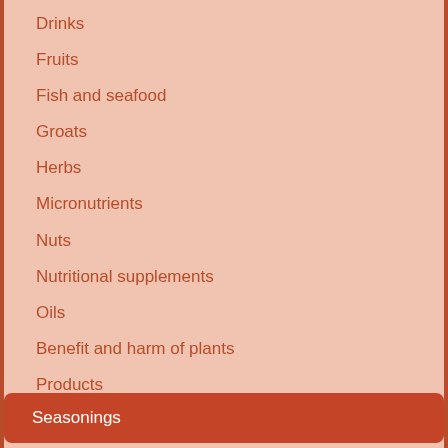Drinks
Fruits
Fish and seafood
Groats
Herbs
Micronutrients
Nuts
Nutritional supplements
Oils
Benefit and harm of plants
Products
Seasonings